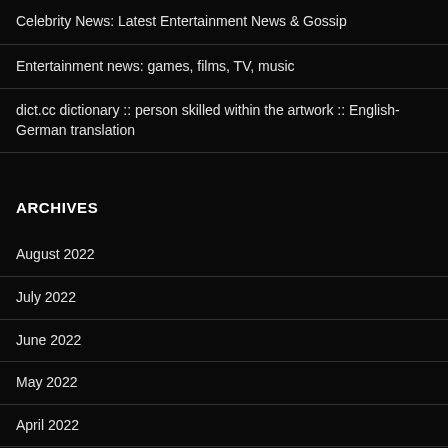Celebrity News: Latest Entertainment News & Gossip
Entertainment news: games, films, TV, music
dict.cc dictionary :: person skilled within the artwork :: English-German translation
ARCHIVES
August 2022
July 2022
June 2022
May 2022
April 2022
March 2022
February 2022